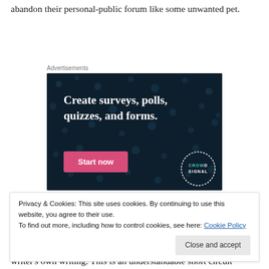abandon their personal-public forum like some unwanted pet.
[Figure (other): Advertisement banner with dark navy background and dot pattern. White bold text reads 'Create surveys, polls, quizzes, and forms.' with a pink 'Start now' button and a Crowd Signal logo in the bottom right corner.]
Advertisements
Privacy & Cookies: This site uses cookies. By continuing to use this website, you agree to their use.
To find out more, including how to control cookies, see here: Cookie Policy
writer's own writing. This is an understandable short circuit